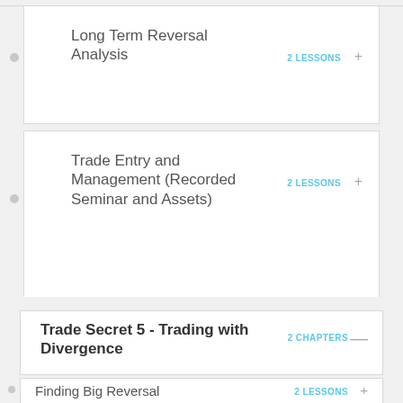Long Term Reversal Analysis
Trade Entry and Management (Recorded Seminar and Assets)
Trade Secret 5 - Trading with Divergence
Finding Big Reversal